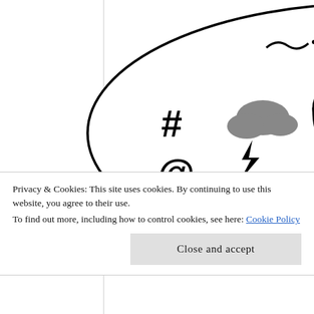[Figure (illustration): A cartoon drawing showing an angry person with a raised fist, with a speech bubble containing expletive symbols: #, @, storm cloud, lightning bolt, ghost, snake, lightning bolt letter S, bomb, exclamation marks, cross/dagger, arrow. The person has sunglasses/eyebrows drawn in thick black lines and gray hair. Below the illustration is a cookie consent banner.]
Privacy & Cookies: This site uses cookies. By continuing to use this website, you agree to their use.
To find out more, including how to control cookies, see here: Cookie Policy
Close and accept